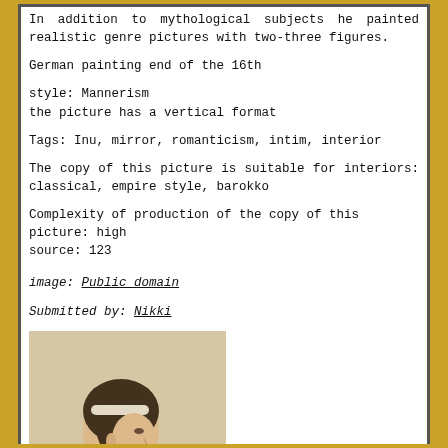In addition to mythological subjects he painted realistic genre pictures with two-three figures.
German painting end of the 16th
style: Mannerism
the picture has a vertical format
Tags: Inu, mirror, romanticism, intim, interior
The copy of this picture is suitable for interiors: classical, empire style, barokko
Complexity of production of the copy of this picture: high
source: 123
image: Public domain
Submitted by: Nikki
[Figure (photo): Portrait painting of a woman with dark hair and a white headband, shown from behind/side profile, bare shoulders, classical painting style]